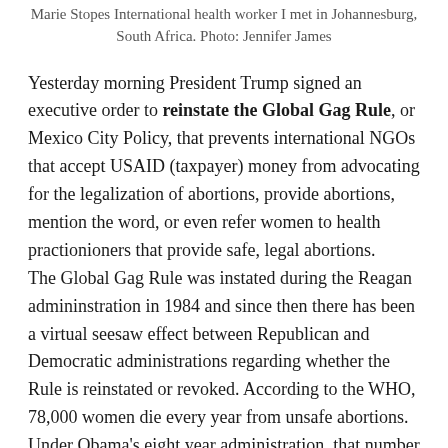Marie Stopes International health worker I met in Johannesburg, South Africa. Photo: Jennifer James
Yesterday morning President Trump signed an executive order to reinstate the Global Gag Rule, or Mexico City Policy, that prevents international NGOs that accept USAID (taxpayer) money from advocating for the legalization of abortions, provide abortions, mention the word, or even refer women to health practionioners that provide safe, legal abortions.
The Global Gag Rule was instated during the Reagan admininstration in 1984 and since then there has been a virtual seesaw effect between Republican and Democratic administrations regarding whether the Rule is reinstated or revoked. According to the WHO, 78,000 women die every year from unsafe abortions. Under Obama's eight year administration, that number was reportedly